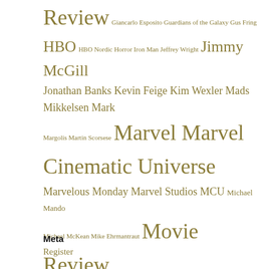Review Giancarlo Esposito Guardians of the Galaxy Gus Fring HBO HBO Nordic Horror Iron Man Jeffrey Wright Jimmy McGill Jonathan Banks Kevin Feige Kim Wexler Mads Mikkelsen Mark Margolis Martin Scorsese Marvel Marvel Cinematic Universe Marvelous Monday Marvel Studios MCU Michael Mando Michael McKean Mike Ehrmantraut Movie Review Netflix News Oscars Patrick Fabian Predictions Retro Review Review Rhea Seehorn Saul Goodman Season Review Special Features Spider-Man Star Wars Thriller TV Review Vince Gilligan Warner Bros. Westworld
Meta
Register